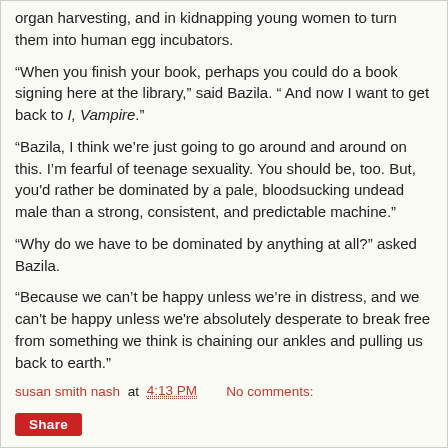organ harvesting, and in kidnapping young women to turn them into human egg incubators.
“When you finish your book, perhaps you could do a book signing here at the library,” said Bazila. “ And now I want to get back to I, Vampire.”
“Bazila, I think we’re just going to go around and around on this. I’m fearful of teenage sexuality. You should be, too. But, you'd rather be dominated by a pale, bloodsucking undead male than a strong, consistent, and predictable machine.”
“Why do we have to be dominated by anything at all?” asked Bazila.
“Because we can’t be happy unless we’re in distress, and we can't be happy unless we're absolutely desperate to break free from something we think is chaining our ankles and pulling us back to earth.”
susan smith nash at 4:13 PM    No comments:
Share